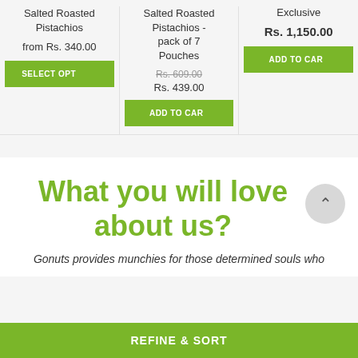Salted Roasted Pistachios
from Rs. 340.00
SELECT OPTIONS
Salted Roasted Pistachios - pack of 7 Pouches
Rs. 609.00
Rs. 439.00
ADD TO CART
Exclusive
Rs. 1,150.00
ADD TO CART
What you will love about us?
Gonuts provides munchies for those determined souls who
REFINE & SORT